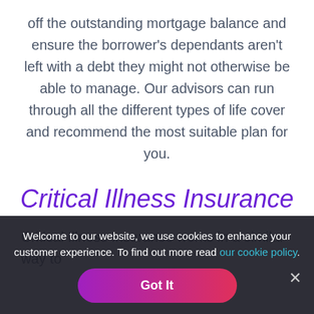off the outstanding mortgage balance and ensure the borrower's dependants aren't left with a debt they might not otherwise be able to manage. Our advisors can run through all the different types of life cover and recommend the most suitable plan for you.
Critical Illness Insurance
Critical Illness Insurance works in a similar way to
Welcome to our website, we use cookies to enhance your customer experience. To find out more read our cookie policy.